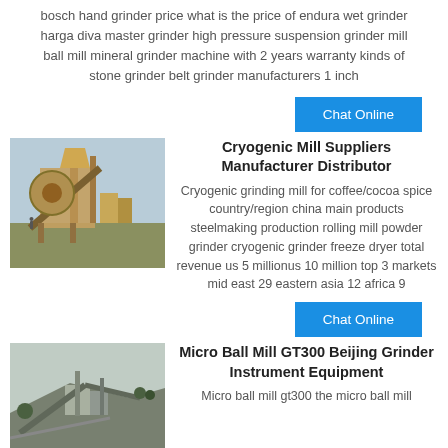bosch hand grinder price what is the price of endura wet grinder harga diva master grinder high pressure suspension grinder mill ball mill mineral grinder machine with 2 years warranty kinds of stone grinder belt grinder manufacturers 1 inch
Chat Online
[Figure (photo): Industrial mining/crushing equipment machinery outdoors]
Cryogenic Mill Suppliers Manufacturer Distributor
Cryogenic grinding mill for coffee/cocoa spice country/region china main products steelmaking production rolling mill powder grinder cryogenic grinder freeze dryer total revenue us 5 millionus 10 million top 3 markets mid east 29 eastern asia 12 africa 9
Chat Online
[Figure (photo): Industrial quarry/crusher equipment and infrastructure on hillside]
Micro Ball Mill GT300 Beijing Grinder Instrument Equipment
Micro ball mill gt300 the micro ball mill